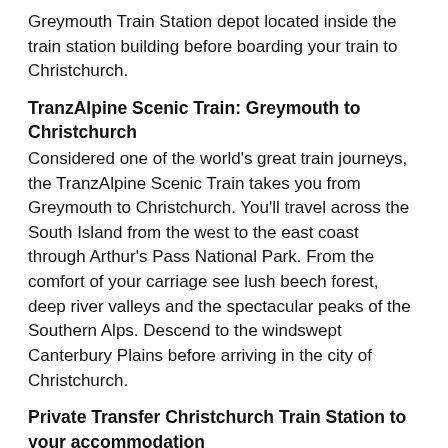Greymouth Train Station depot located inside the train station building before boarding your train to Christchurch.
TranzAlpine Scenic Train: Greymouth to Christchurch
Considered one of the world's great train journeys, the TranzAlpine Scenic Train takes you from Greymouth to Christchurch. You'll travel across the South Island from the west to the east coast through Arthur's Pass National Park. From the comfort of your carriage see lush beech forest, deep river valleys and the spectacular peaks of the Southern Alps. Descend to the windswept Canterbury Plains before arriving in the city of Christchurch.
Private Transfer Christchurch Train Station to your accommodation
On arrival at the Christchurch train station, you will be met by a private driver and transferred to your accommodation.
Your accommodation: Quest Cathedral Junction
Quest Cathedral Junction serviced apartment style hotel rooms offer guests a relaxed and comfortable Christchurch...